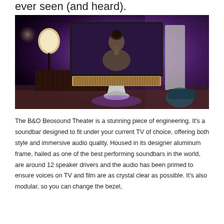ever seen (and heard).
[Figure (photo): A person with an updo hairstyle seen from behind, facing a large premium television screen (Bang & Olufsen Beosound Theater setup) in a dimly lit room with purple ambient lighting. A floor lamp is visible on the left side, and the soundbar beneath the TV glows with a purple hue.]
The B&O Beosound Theater is a stunning piece of engineering. It's a soundbar designed to fit under your current TV of choice, offering both style and immersive audio quality. Housed in its designer aluminum frame, hailed as one of the best performing soundbars in the world, are around 12 speaker drivers and the audio has been primed to ensure voices on TV and film are as crystal clear as possible. It's also modular, so you can change the bezel,